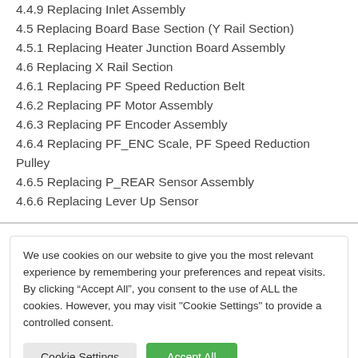4.4.9 Replacing Inlet Assembly
4.5 Replacing Board Base Section (Y Rail Section)
4.5.1 Replacing Heater Junction Board Assembly
4.6 Replacing X Rail Section
4.6.1 Replacing PF Speed Reduction Belt
4.6.2 Replacing PF Motor Assembly
4.6.3 Replacing PF Encoder Assembly
4.6.4 Replacing PF_ENC Scale, PF Speed Reduction Pulley
4.6.5 Replacing P_REAR Sensor Assembly
4.6.6 Replacing Lever Up Sensor
We use cookies on our website to give you the most relevant experience by remembering your preferences and repeat visits. By clicking “Accept All”, you consent to the use of ALL the cookies. However, you may visit "Cookie Settings" to provide a controlled consent.
Cookie Settings  Accept All